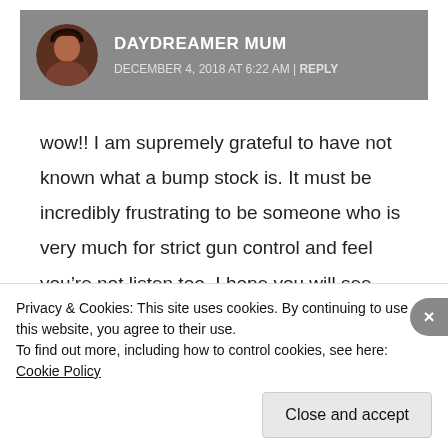[Figure (photo): Circular avatar photo of Daydreamer Mum, a woman with dark hair]
DAYDREAMER MUM
DECEMBER 4, 2018 AT 6:22 AM | REPLY
wow!! I am supremely grateful to have not known what a bump stock is. It must be incredibly frustrating to be someone who is very much for strict gun control and feel you’re not listen too. I hope you will see movement on this soon
Privacy & Cookies: This site uses cookies. By continuing to use this website, you agree to their use.
To find out more, including how to control cookies, see here: Cookie Policy